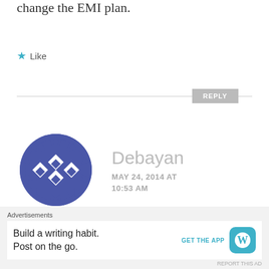change the EMI plan.
★ Like
REPLY
[Figure (illustration): Blue geometric avatar icon with diamond/checker pattern in a circular shape]
Debayan
MAY 24, 2014 AT 10:53 AM
Lol!!
★ Like
Advertisements
Build a writing habit. Post on the go. GET THE APP [WordPress icon]